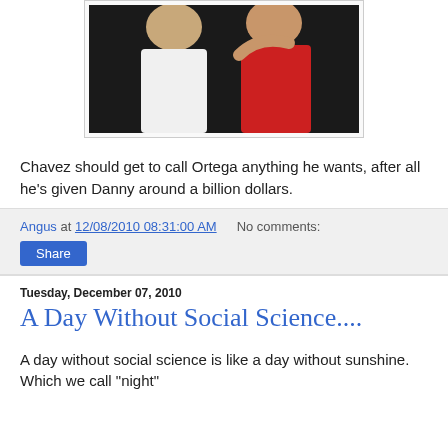[Figure (photo): Two men posing together; one wearing a white shirt, one wearing a red shirt, dark background]
Chavez should get to call Ortega anything he wants, after all he's given Danny around a billion dollars.
Angus at 12/08/2010 08:31:00 AM   No comments:
Share
Tuesday, December 07, 2010
A Day Without Social Science....
A day without social science is like a day without sunshine. Which we call "night"